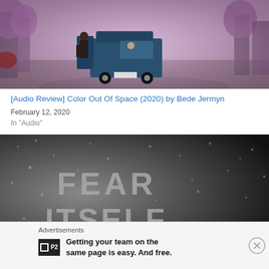[Figure (photo): A blue van on a misty purple-hued road lined with trees, a person standing by the open door, seen from behind.]
[Audio Review] Color Out Of Space (2020) by Bede Jermyn
February 12, 2020
In "Audio"
[Figure (photo): A rain-spattered dark glass surface with the words FEAR ITSELF written in large letters in the condensation.]
Advertisements
Getting your team on the same page is easy. And free.